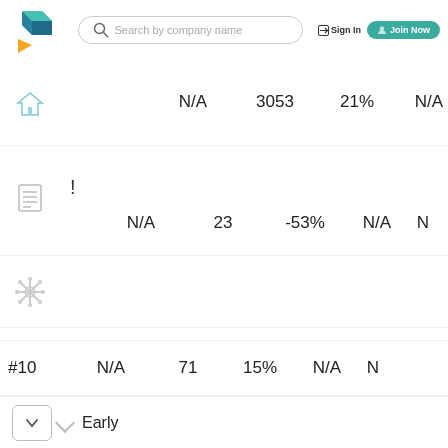[Figure (logo): Blue and orange geometric logo (cube/arrow shape)]
Search by company name
Sign In
Join Now
|  | Col1 | Col2 | Col3 | Col4 | Col5 |
| --- | --- | --- | --- | --- | --- |
| [home icon] | N/A | 3053 | 21% | N/A | N |
| [document icon] | N/A | 23 | -53% | N/A | N |
| [snowflake icon] |  |  |  |  |  |
| #10 | N/A | 71 | 15% | N/A | N |
Early